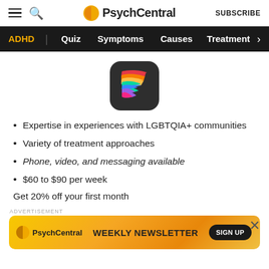PsychCentral | SUBSCRIBE
ADHD | Quiz | Symptoms | Causes | Treatment
[Figure (logo): App icon with colorful rainbow F letter on dark background]
Expertise in experiences with LGBTQIA+ communities
Variety of treatment approaches
Phone, video, and messaging available
$60 to $90 per week
Get 20% off your first month
ADVERTISEMENT
[Figure (screenshot): PsychCentral Weekly Newsletter sign up banner advertisement with orange/yellow gradient background]